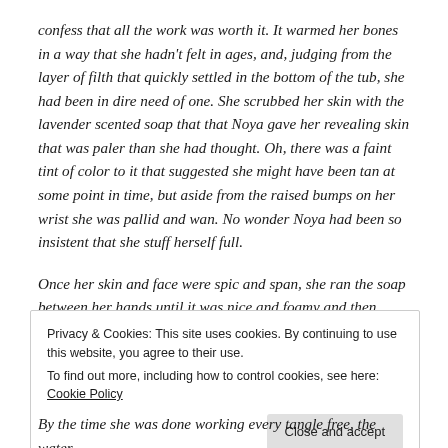confess that all the work was worth it. It warmed her bones in a way that she hadn't felt in ages, and, judging from the layer of filth that quickly settled in the bottom of the tub, she had been in dire need of one. She scrubbed her skin with the lavender scented soap that that Noya gave her revealing skin that was paler than she had thought. Oh, there was a faint tint of color to it that suggested she might have been tan at some point in time, but aside from the raised bumps on her wrist she was pallid and wan. No wonder Noya had been so insistent that she stuff herself full.
Once her skin and face were spic and span, she ran the soap between her hands until it was nice and foamy and then
Privacy & Cookies: This site uses cookies. By continuing to use this website, you agree to their use.
To find out more, including how to control cookies, see here: Cookie Policy
By the time she was done working every tangle free, the water